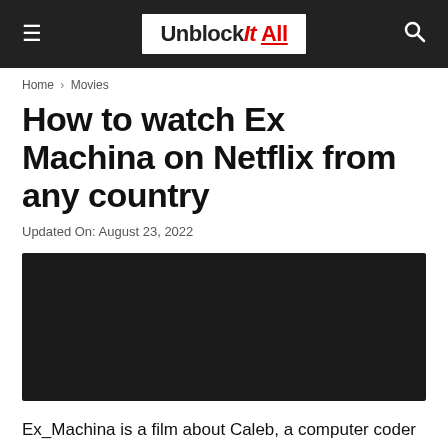Unblock It All
Home › Movies
How to watch Ex Machina on Netflix from any country
Updated On: August 23, 2022
[Figure (photo): Dark image area placeholder for article hero image]
Ex_Machina is a film about Caleb, a computer coder who wins an award to spend time with his company's CEO. This